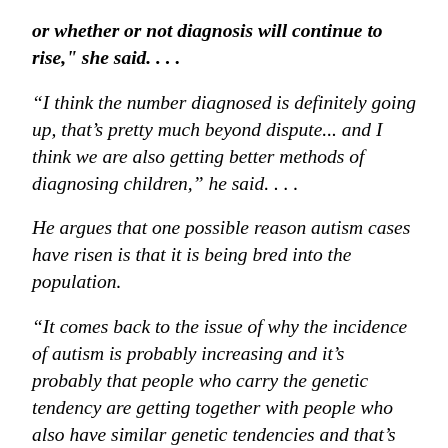or whether or not diagnosis will continue to rise," she said. . . .
"I think the number diagnosed is definitely going up, that's pretty much beyond dispute... and I think we are also getting better methods of diagnosing children," he said. . . .
He argues that one possible reason autism cases have risen is that it is being bred into the population.
"It comes back to the issue of why the incidence of autism is probably increasing and it's probably that people who carry the genetic tendency are getting together with people who also have similar genetic tendencies and that's called assortative mating."
Schools must prepare for the increase in